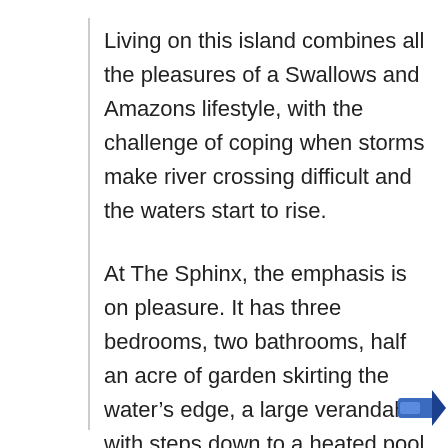Living on this island combines all the pleasures of a Swallows and Amazons lifestyle, with the challenge of coping when storms make river crossing difficult and the waters start to rise.
At The Sphinx, the emphasis is on pleasure. It has three bedrooms, two bathrooms, half an acre of garden skirting the water's edge, a large verandah with steps down to a heated pool that has underwater lighting and an all-weather